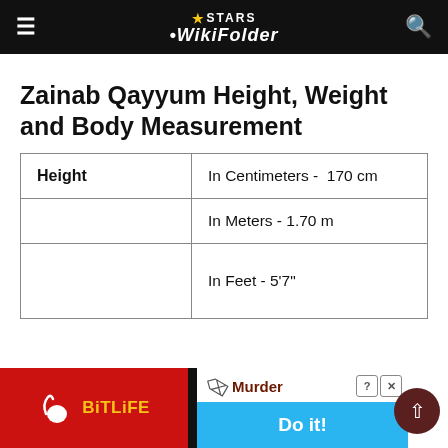Stars WikiFolder
Zainab Qayyum Height, Weight and Body Measurement
| Height |  |
| --- | --- |
| Height | In Centimeters -  170 cm |
|  | In Meters - 1.70 m |
|  | In Feet - 5'7" |
[Figure (screenshot): BitLife advertisement banner showing BitLife logo and Murder Do it! button]